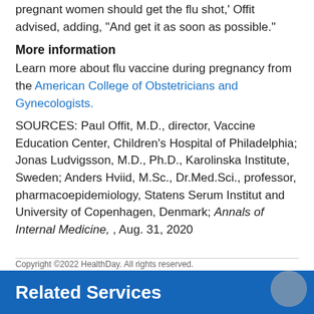pregnant women should get the flu shot,' Offit advised, adding, "And get it as soon as possible."
More information
Learn more about flu vaccine during pregnancy from the American College of Obstetricians and Gynecologists.
SOURCES: Paul Offit, M.D., director, Vaccine Education Center, Children's Hospital of Philadelphia; Jonas Ludvigsson, M.D., Ph.D., Karolinska Institute, Sweden; Anders Hviid, M.Sc., Dr.Med.Sci., professor, pharmacoepidemiology, Statens Serum Institut and University of Copenhagen, Denmark; Annals of Internal Medicine, , Aug. 31, 2020
Copyright ©2022 HealthDay. All rights reserved.
Related Services